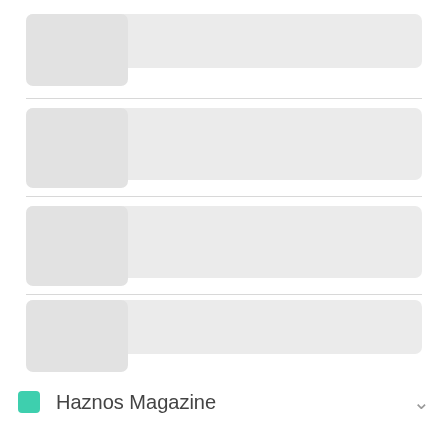[Figure (screenshot): Four skeleton/placeholder loading card rows, each with a grey rectangular background and a smaller grey thumbnail box on the left, separated by thin horizontal divider lines. Below a horizontal rule, a footer row shows a teal/green square icon followed by the text 'Haznos Magazine' and a chevron/arrow on the right.]
Haznos Magazine